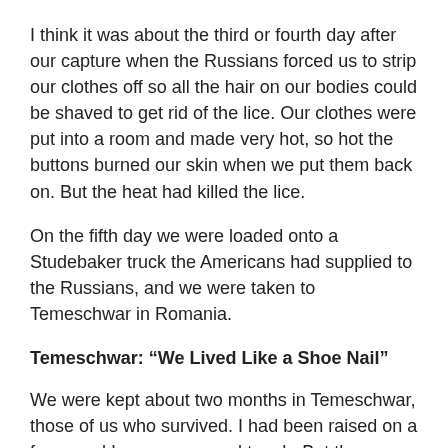I think it was about the third or fourth day after our capture when the Russians forced us to strip our clothes off so all the hair on our bodies could be shaved to get rid of the lice. Our clothes were put into a room and made very hot, so hot the buttons burned our skin when we put them back on. But the heat had killed the lice.
On the fifth day we were loaded onto a Studebaker truck the Americans had supplied to the Russians, and we were taken to Temeschwar in Romania.
Temeschwar: “We Lived Like a Shoe Nail”
We were kept about two months in Temeschwar, those of us who survived. I had been raised on a farm, and I was young and tough. But the Russians had grabbed everybody in Budapest; old men, young men. Civilians. People who had been raised in cities. We lived like a